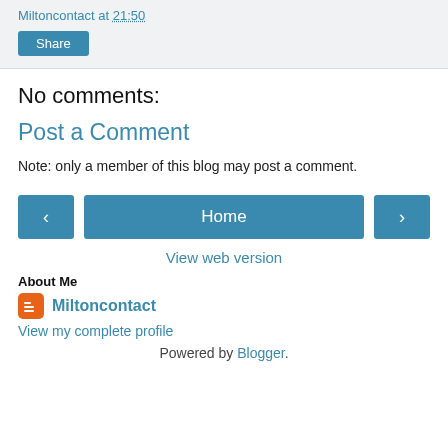Miltoncontact at 21:50
Share
No comments:
Post a Comment
Note: only a member of this blog may post a comment.
‹  Home  ›
View web version
About Me
Miltoncontact
View my complete profile
Powered by Blogger.